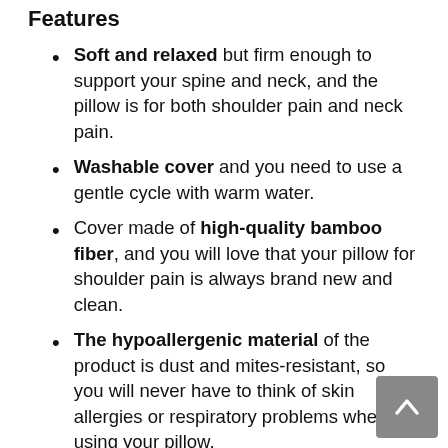Features
Soft and relaxed but firm enough to support your spine and neck, and the pillow is for both shoulder pain and neck pain.
Washable cover and you need to use a gentle cycle with warm water.
Cover made of high-quality bamboo fiber, and you will love that your pillow for shoulder pain is always brand new and clean.
The hypoallergenic material of the product is dust and mites-resistant, so you will never have to think of skin allergies or respiratory problems when using your pillow.
Fluffy and adjustable to suit any